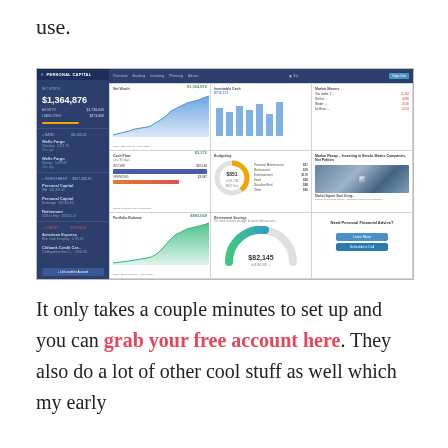use.
[Figure (screenshot): Screenshot of Personal Capital financial dashboard showing net worth ($1,364,876), investable cash ($716,171), market movers, cash flow ($2,276), budgeting, portfolio balance ($893,068), and retirement savings ($82,145) panels with charts and graphs.]
It only takes a couple minutes to set up and you can grab your free account here. They also do a lot of other cool stuff as well which my early